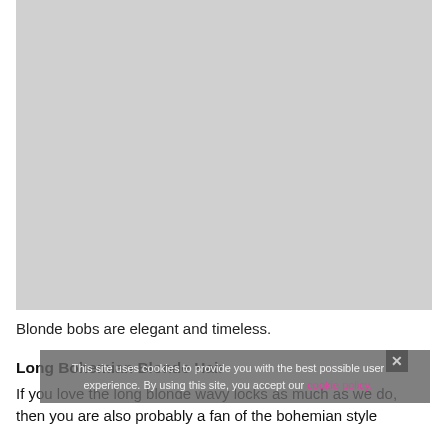[Figure (photo): Large gray placeholder image for a blonde hair photo]
Blonde bobs are elegant and timeless.
Long Bohemian Blonde Hair
If you love the long blonde wavy locks as much as we do, then you are also probably a fan of the bohemian style
This site uses cookies to provide you with the best possible user experience. By using this site, you accept our cookie policy.